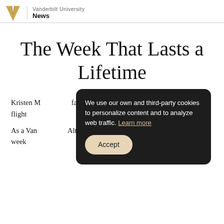Vanderbilt University  News
The Week That Lasts a Lifetime
Kristen [M...] falling o[ver...] babies c[...] urine in [...] up flight[...]
As a Van[derbilt student,] Alternative Spring Break, she was spending the week
We use our own and third-party cookies to personalize content and to analyze web traffic. Learn more
Accept